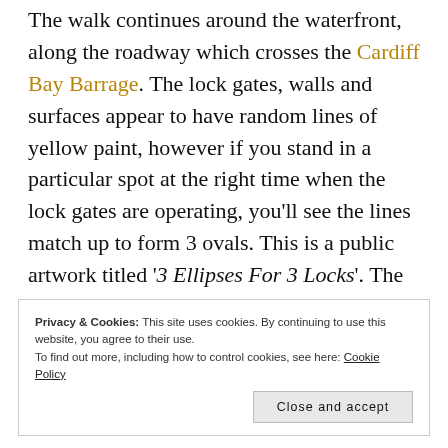The walk continues around the waterfront, along the roadway which crosses the Cardiff Bay Barrage. The lock gates, walls and surfaces appear to have random lines of yellow paint, however if you stand in a particular spot at the right time when the lock gates are operating, you'll see the lines match up to form 3 ovals. This is a public artwork titled '3 Ellipses For 3 Locks'. The photo below taken just after the barrage lock gates closed, almost but not quite, captures the fully lined up effect.
Privacy & Cookies: This site uses cookies. By continuing to use this website, you agree to their use. To find out more, including how to control cookies, see here: Cookie Policy